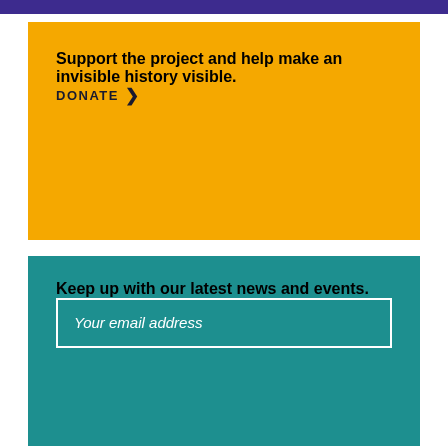Support the project and help make an invisible history visible.
DONATE ❯
Keep up with our latest news and events.
Your email address